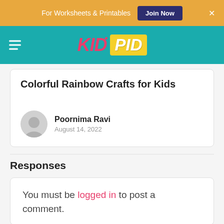For Worksheets & Printables  Join Now  ×
[Figure (logo): KidPid logo on teal navigation bar with hamburger menu]
Colorful Rainbow Crafts for Kids
Poornima Ravi
August 14, 2022
Responses
You must be logged in to post a comment.